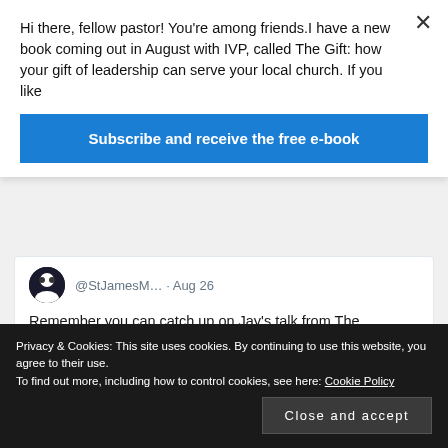Hi there, fellow pastor! You're among friends.I have a new book coming out in August with IVP, called The Gift: how your gift of leadership can serve your local church. If you like
Subscribe and receive the free e-book
@StJamesM… · Aug 26
Remember you can catch up on Jay's talk from The Gathering on our podcast! Search for 'Sundays at St James Muswell Hill' on any of the major podcast platforms.
Privacy & Cookies: This site uses cookies. By continuing to use this website, you agree to their use.
To find out more, including how to control cookies, see here: Cookie Policy
Close and accept